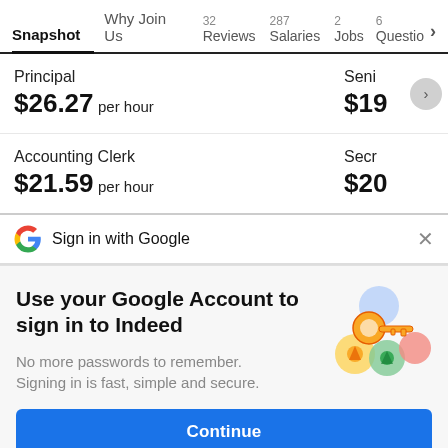Snapshot | Why Join Us | 32 Reviews | 287 Salaries | 2 Jobs | 6 Questio >
Principal
$26.27 per hour
Seni
$19
Accounting Clerk
$21.59 per hour
Secr
$20
G Sign in with Google  ×
Use your Google Account to sign in to Indeed
No more passwords to remember.
Signing in is fast, simple and secure.
[Figure (illustration): Google sign-in illustration with a golden key and colorful circles (blue, yellow, green, pink) representing Google account icons]
Continue